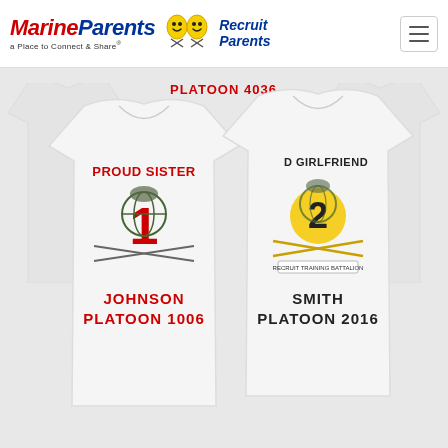[Figure (logo): MarineParents logo with red italic text 'MarineParents', blue italic text, tagline 'a Place to Connect & Share®', yellow smiley face icons, and blue italic 'Recruit Parents' text]
[Figure (photo): Two white women's fitted t-shirts displayed side by side. Left shirt reads 'PROUD SISTER' in red, has a military insignia graphic with the number 1, and text 'JOHNSON PLATOON 1006' in red. Right shirt reads 'D GIRLFRIEND' (partially visible) in black, has a military insignia graphic with the number 2 in yellow, and text 'SMITH PLATOON 2016' in black. Above the shirts is text 'PLATOON 4036' in red. Background is light gray. Partial shirts visible at edges.]